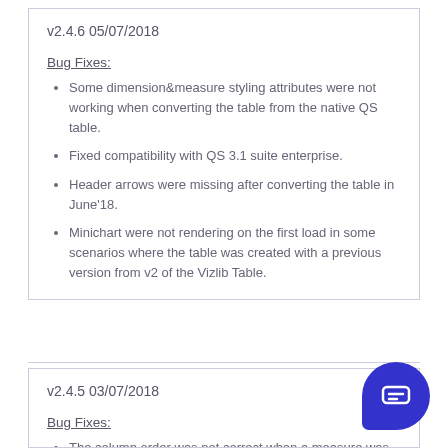v2.4.6 05/07/2018
Bug Fixes:
Some dimension&measure styling attributes were not working when converting the table from the native QS table.
Fixed compatibility with QS 3.1 suite enterprise.
Header arrows were missing after converting the table in June'18.
Minichart were not rendering on the first load in some scenarios where the table was created with a previous version from v2 of the Vizlib Table.
v2.4.5 03/07/2018
Bug Fixes:
The column order was not correct when a measure was placed at first.
When making a selection on a pivot table with...